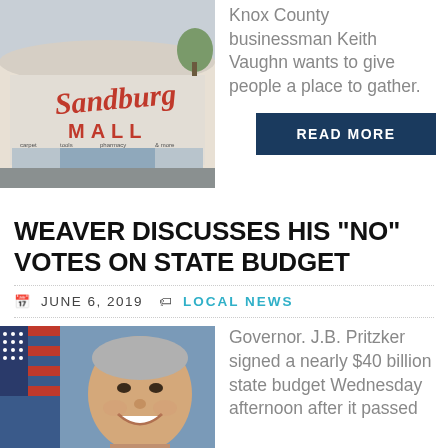[Figure (photo): Photo of Sandburg Mall exterior with red cursive 'Sandburg' sign and 'MALL' lettering, daytime, parking lot visible]
Knox County businessman Keith Vaughn wants to give people a place to gather.
READ MORE
WEAVER DISCUSSES HIS “NO” VOTES ON STATE BUDGET
JUNE 6, 2019   LOCAL NEWS
[Figure (photo): Portrait photo of a smiling older man with gray hair in front of an American flag]
Governor. J.B. Pritzker signed a nearly $40 billion state budget Wednesday afternoon after it passed